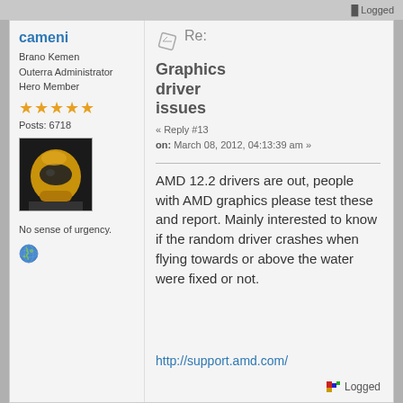Logged
cameni
Brano Kemen
Outerra Administrator
Hero Member
Posts: 6718
[Figure (photo): Avatar photo of user cameni wearing a yellow racing helmet]
No sense of urgency.
[Figure (illustration): Globe/world icon]
Re:
Graphics driver issues
« Reply #13 on: March 08, 2012, 04:13:39 am »
AMD 12.2 drivers are out, people with AMD graphics please test these and report. Mainly interested to know if the random driver crashes when flying towards or above the water were fixed or not.
http://support.amd.com/
Logged